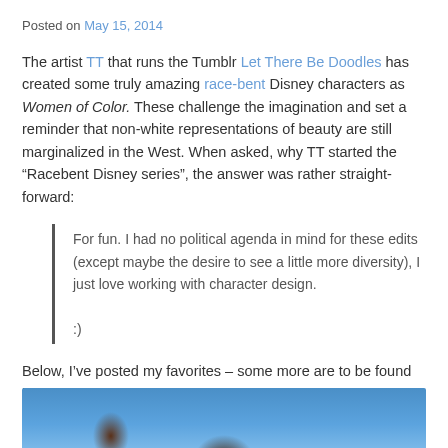Posted on May 15, 2014
The artist TT that runs the Tumblr Let There Be Doodles has created some truly amazing race-bent Disney characters as Women of Color. These challenge the imagination and set a reminder that non-white representations of beauty are still marginalized in the West. When asked, why TT started the “Racebent Disney series”, the answer was rather straight-forward:
For fun. I had no political agenda in mind for these edits (except maybe the desire to see a little more diversity), I just love working with character design. :)
Below, I’ve posted my favorites – some more are to be found in TT’s posts part 1 and part 2.
[Figure (photo): Bottom portion of an image showing what appears to be a Disney character illustration with a blue background.]